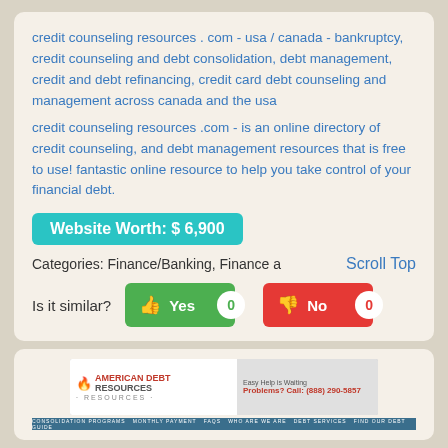credit counseling resources . com - usa / canada - bankruptcy, credit counseling and debt consolidation, debt management, credit and debt refinancing, credit card debt counseling and management across canada and the usa
credit counseling resources .com - is an online directory of credit counseling, and debt management resources that is free to use! fantastic online resource to help you take control of your financial debt.
Website Worth: $ 6,900
Categories: Finance/Banking, Finance a
Scroll Top
Is it similar?
Yes 0
No 0
[Figure (screenshot): American Debt Resources advertisement banner with logo, tagline and phone number (888) 290-5857]